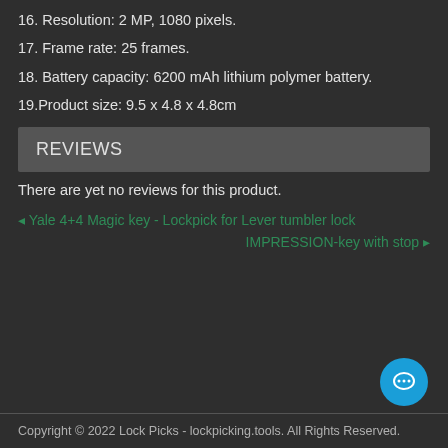16. Resolution: 2 MP, 1080 pixels.
17. Frame rate: 25 frames.
18. Battery capacity: 6200 mAh lithium polymer battery.
19.Product size: 9.5 x 4.8 x 4.8cm
REVIEWS
There are yet no reviews for this product.
◂ Yale 4+4 Magic key - Lockpick for Lever tumbler lock
IMPRESSION-key with stop ▸
Copyright © 2022 Lock Picks - lockpicking.tools. All Rights Reserved.